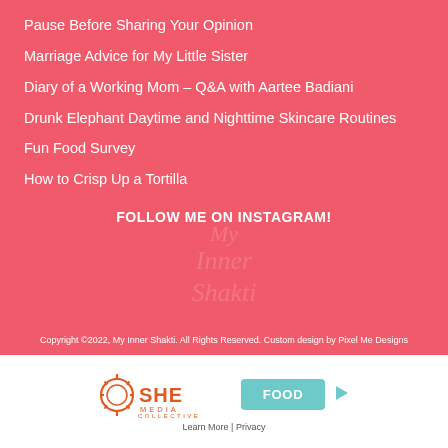Pause Before Sharing Your Opinion
Marriage Advice for My Little Sister
Diary of a Working Mom – Q&A with Aartee Badiani
Drunk Elephant Daytime and Nighttime Skincare Routines
Fun Food Survey
How to Crisp Up a Tortilla
FOLLOW ME ON INSTAGRAM!
Copyright ©2022, My Inner Shakti. All Rights Reserved. Custom design by Pixel Me Designs
[Figure (logo): SHE Media Collective logo with FOOD button and play icon, plus Learn More | Privacy links]